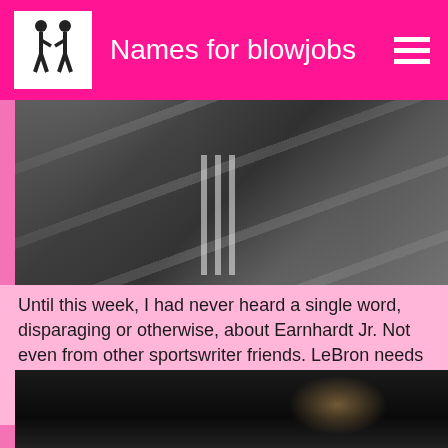Names for blowjobs
[Figure (photo): Dark photo of a person in a dark athletic jacket with white stripes, partially out of frame]
Until this week, I had never heard a single word, disparaging or otherwise, about Earnhardt Jr. Not even from other sportswriter friends. LeBron needs a championship to prove he is among the best of his era. Which is strange.
[Figure (photo): Dark photo showing top of someone's head with brownish hair against a very dark background]